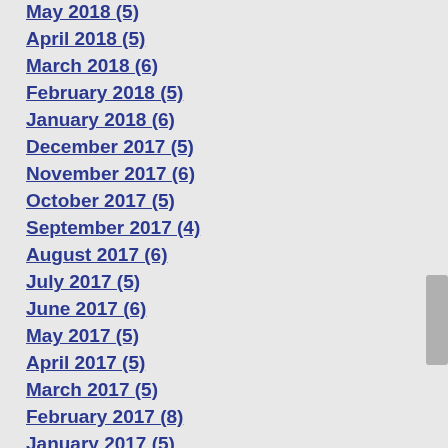May 2018 (5)
April 2018 (5)
March 2018 (6)
February 2018 (5)
January 2018 (6)
December 2017 (5)
November 2017 (6)
October 2017 (5)
September 2017 (4)
August 2017 (6)
July 2017 (5)
June 2017 (6)
May 2017 (5)
April 2017 (5)
March 2017 (5)
February 2017 (8)
January 2017 (5)
December 2016 (5)
November 2016 (4)